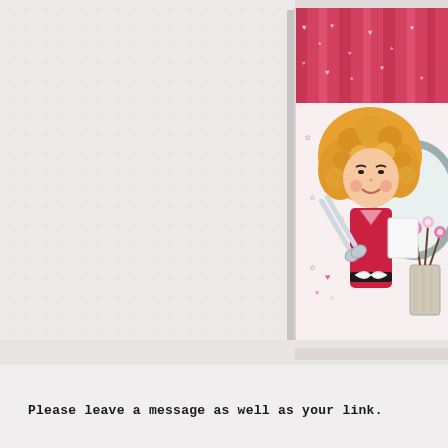[Figure (photo): A craft/handmade greeting card featuring a cartoon girl with curly blonde hair wearing a red dress and holding scissors, with a decorative mirror, flower vase, and pink/red patterned wallpaper background. The card is displayed standing upright on a white surface.]
Please leave a message as well as your link.